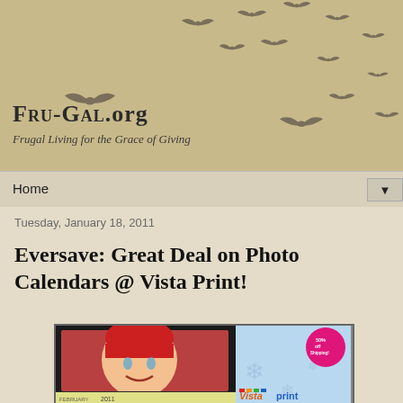[Figure (illustration): Fru-Gal.org website header banner with sandy/tan background and silhouette birds flying in a flock pattern]
Fru-Gal.org
Frugal Living for the Grace of Giving
Home ▼
Tuesday, January 18, 2011
Eversave: Great Deal on Photo Calendars @ Vista Print!
[Figure (photo): Vistaprint photo calendar advertisement showing a baby in a red hat, with '50% off Shipping!' badge and Vistaprint logo on a light blue background with snowflakes]